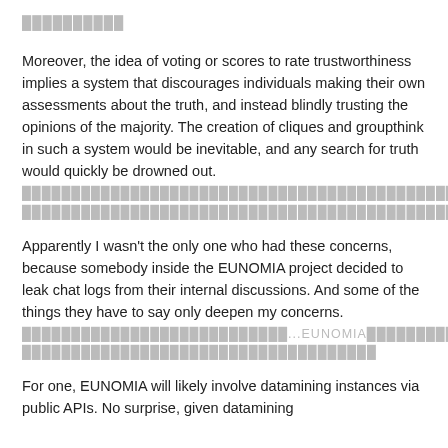[redacted]
Moreover, the idea of voting or scores to rate trustworthiness implies a system that discourages individuals making their own assessments about the truth, and instead blindly trusting the opinions of the majority. The creation of cliques and groupthink in such a system would be inevitable, and any search for truth would quickly be drowned out.
[redacted paragraph in non-Latin script]
Apparently I wasn't the only one who had these concerns, because somebody inside the EUNOMIA project decided to leak chat logs from their internal discussions. And some of the things they have to say only deepen my concerns.
[redacted paragraph in non-Latin script mentioning EUNOMIA]
For one, EUNOMIA will likely involve datamining instances via public APIs. No surprise, given datamining